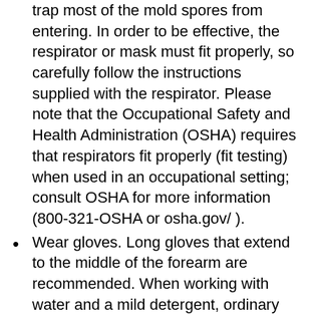trap most of the mold spores from entering. In order to be effective, the respirator or mask must fit properly, so carefully follow the instructions supplied with the respirator. Please note that the Occupational Safety and Health Administration (OSHA) requires that respirators fit properly (fit testing) when used in an occupational setting; consult OSHA for more information (800-321-OSHA or osha.gov/ ).
Wear gloves. Long gloves that extend to the middle of the forearm are recommended. When working with water and a mild detergent, ordinary household rubber gloves may be used. If you are using a disinfectant, a biocide such as chlorine bleach, or a strong cleaning solution, you should select gloves made from natural rubber, neoprene, nitrile, polyurethane, or